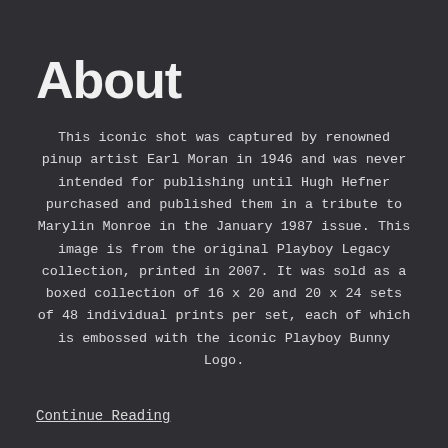About
This iconic shot was captured by renowned pinup artist Earl Moran in 1946 and was never intended for publishing until Hugh Hefner purchased and published them in a tribute to Marylin Monroe in the January 1987 issue. This image is from the original Playboy Legacy collection, printed in 2007. It was sold as a boxed collection of 16 x 20 and 20 x 24 sets of 48 individual prints per set, each of which is embossed with the iconic Playboy Bunny Logo.
Continue Reading